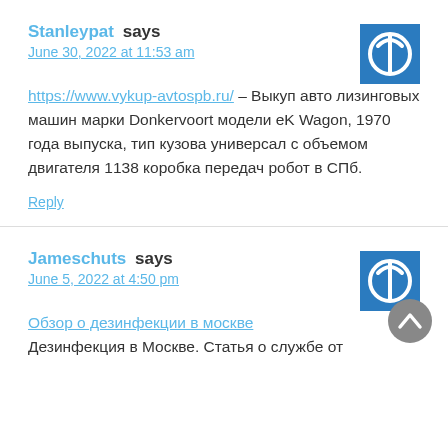Stanleypat says
June 30, 2022 at 11:53 am
https://www.vykup-avtospb.ru/ – Выкуп авто лизинговых машин марки Donkervoort модели еK Wagon, 1970 года выпуска, тип кузова универсал с объемом двигателя 1138 коробка передач робот в СПб.
Reply
Jameschuts says
June 5, 2022 at 4:50 pm
Обзор о дезинфекции в москве
Дезинфекция в Москве. Статья о службе от